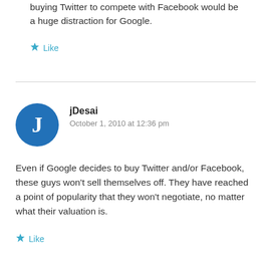buying Twitter to compete with Facebook would be a huge distraction for Google.
Like
jDesai
October 1, 2010 at 12:36 pm
Even if Google decides to buy Twitter and/or Facebook, these guys won't sell themselves off. They have reached a point of popularity that they won't negotiate, no matter what their valuation is.
Like